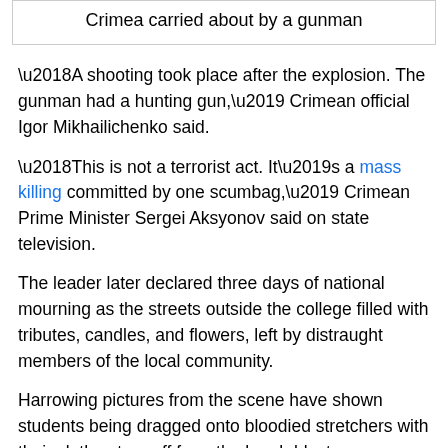Crimea carried about by a gunman
‘A shooting took place after the explosion. The gunman had a hunting gun,’ Crimean official Igor Mikhailichenko said.
‘This is not a terrorist act. It’s a mass killing committed by one scumbag,’ Crimean Prime Minister Sergei Aksyonov said on state television.
The leader later declared three days of national mourning as the streets outside the college filled with tributes, candles, and flowers, left by distraught members of the local community.
Harrowing pictures from the scene have shown students being dragged onto bloodied stretchers with their clothes torn off from the bomb blast.